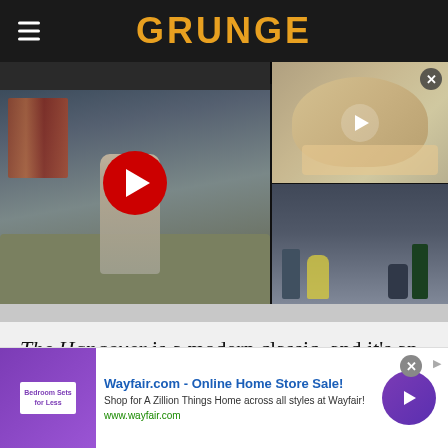GRUNGE
[Figure (screenshot): YouTube video player showing 'The Hangover - Extended Wake Up Clip' with two panels: left panel shows a person sitting on a couch with a red YouTube play button, right panels show a bald man's face and a table with items from the movie]
The Hangover is a modern classic, and it's an impressive bit of storytelling. By the end of the movie, everything about the introduction has become…
[Figure (screenshot): Wayfair.com advertisement banner: 'Wayfair.com - Online Home Store Sale! Shop for A Zillion Things Home across all styles at Wayfair! www.wayfair.com' with purple bedroom image and arrow button]